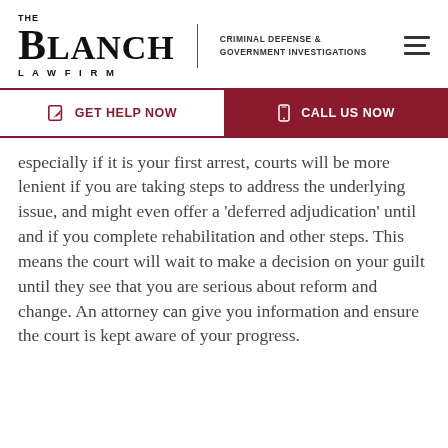[Figure (logo): The Blanch Law Firm logo with tagline 'Criminal Defense & Government Investigations']
GET HELP NOW | CALL US NOW
especially if it is your first arrest, courts will be more lenient if you are taking steps to address the underlying issue, and might even offer a ‘deferred adjudication’ until and if you complete rehabilitation and other steps. This means the court will wait to make a decision on your guilt until they see that you are serious about reform and change. An attorney can give you information and ensure the court is kept aware of your progress.